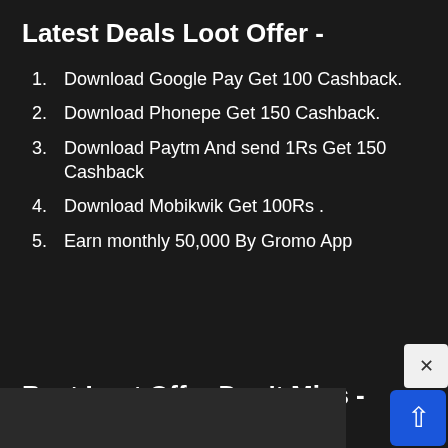Latest Deals Loot Offer -
Download Google Pay Get 100 Cashback.
Download Phonepe Get 150 Cashback.
Download Paytm And send 1Rs Get 150 Cashback
Download Mobikwik Get 100Rs .
Earn monthly 50,000 By Gromo App
Best Loot Offer Don't Miss -